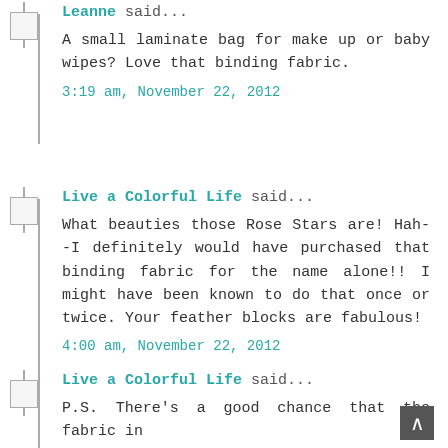Leanne said...
A small laminate bag for make up or baby wipes? Love that binding fabric.
3:19 am, November 22, 2012
Live a Colorful Life said...
What beauties those Rose Stars are! Hah--I definitely would have purchased that binding fabric for the name alone!! I might have been known to do that once or twice. Your feather blocks are fabulous!
4:00 am, November 22, 2012
Live a Colorful Life said...
P.S. There's a good chance that the fabric in